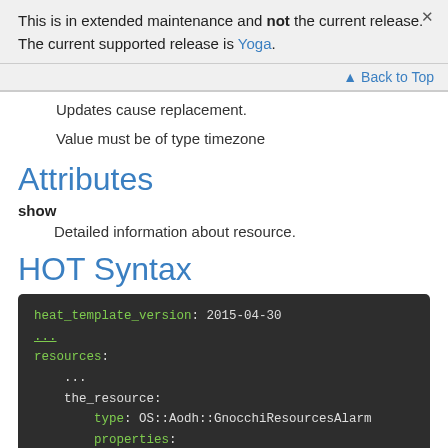This is in extended maintenance and not the current release. The current supported release is Yoga.
▲ Back to Top
Updates cause replacement.
Value must be of type timezone
Attributes
show
Detailed information about resource.
HOT Syntax
[Figure (screenshot): Code block showing HOT syntax: heat_template_version: 2015-04-30, ..., resources:, ..., the_resource:, type: OS::Aodh::GnocchiResourcesAlarm, properties:]